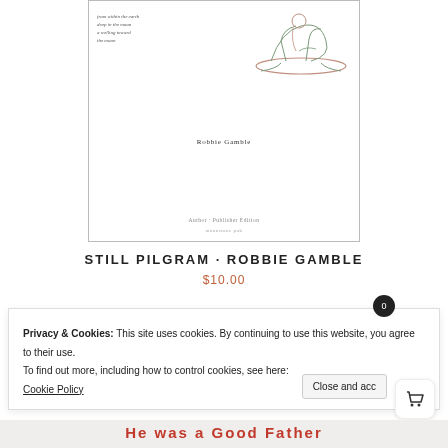[Figure (illustration): Book cover of 'Still Pilgram' by Robbie Gamble showing a sketch illustration of a figure in a rocking chair, with poem text on the left side. The cover includes 'Author · Publisher Edition' and publisher name at the bottom.]
STILL PILGRAM · ROBBIE GAMBLE
$10.00
Privacy & Cookies: This site uses cookies. By continuing to use this website, you agree to their use.
To find out more, including how to control cookies, see here:
Cookie Policy
Close and acc
He was a Good Father